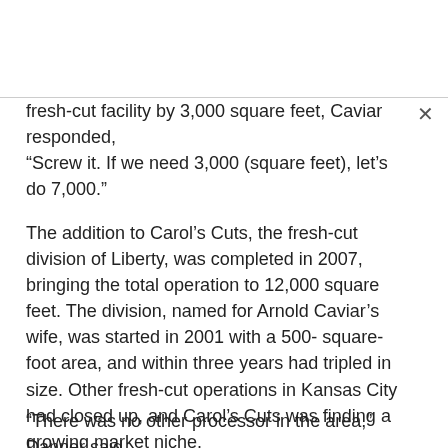fresh-cut facility by 3,000 square feet, Caviar responded, “Screw it. If we need 3,000 (square feet), let’s do 7,000.”
The addition to Carol’s Cuts, the fresh-cut division of Liberty, was completed in 2007, bringing the total operation to 12,000 square feet. The division, named for Arnold Caviar’s wife, was started in 2001 with a 500-square-foot area, and within three years had tripled in size. Other fresh-cut operations in Kansas City had closed up, and Carol’s Cuts was finding a growing market niche.
“There was no other processor in the area,” Danner said,